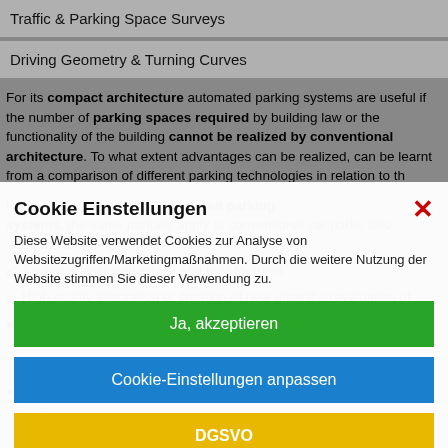Traffic & Parking Space Surveys
Driving Geometry & Turning Curves
For its compact architecture automated parking systems are useful if the number of parking spaces required by building law or the functionality of the building cannot be realized by conventional architecture. To what extent advantages can be realized, can be learnt from a comparison of different parking technologies in relation to th
For automated parking systems, the same partially apply to conventional car parks also – are the following:
Saving of enclosed space and built footprint
High quality integration or creation of new urbanity: revaluation of
Comfortable and safe parking in generously spaced, light transfer cabins with authorized access
authorized persons – prevention of vandalism, collisions and theft
Elimination of air pollution and reduction of fuel consumption
appliances
Cookie Einstellungen
Diese Website verwendet Cookies zur Analyse von Websitezugriffen/Marketingmaßnahmen. Durch die weitere Nutzung der Website stimmen Sie dieser Verwendung zu.
Ja, akzeptieren
Cookie-Einstellungen anpassen
DGSVO